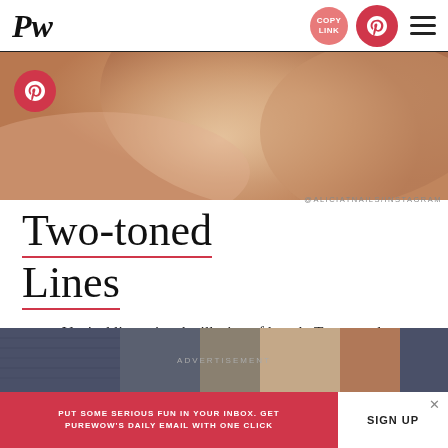PW — header with COPY LINK button, Pinterest button, hamburger menu
[Figure (photo): Close-up macro photo of human skin/fingers with warm beige and tan tones. Red Pinterest circle button overlay at top left.]
@ALICIATNAILS/INSTAGRAM
Two-toned Lines
Vertical lines give the illusion of length. Two-toned lines give major style.
[Figure (photo): Bottom strip showing denim fabric and skin tones — advertisement area.]
ADVERTISEMENT
PUT SOME SERIOUS FUN IN YOUR INBOX. GET PUREWOW'S DAILY EMAIL WITH ONE CLICK
SIGN UP